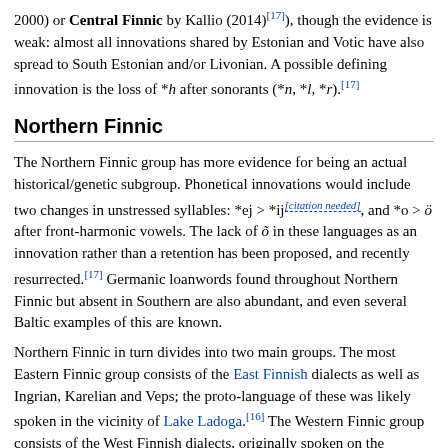2000) or Central Finnic by Kallio (2014)[17]), though the evidence is weak: almost all innovations shared by Estonian and Votic have also spread to South Estonian and/or Livonian. A possible defining innovation is the loss of *h after sonorants (*n, *l, *r).[17]
Northern Finnic
The Northern Finnic group has more evidence for being an actual historical/genetic subgroup. Phonetical innovations would include two changes in unstressed syllables: *ej > *ij[citation needed], and *o > ö after front-harmonic vowels. The lack of õ in these languages as an innovation rather than a retention has been proposed, and recently resurrected.[17] Germanic loanwords found throughout Northern Finnic but absent in Southern are also abundant, and even several Baltic examples of this are known.
Northern Finnic in turn divides into two main groups. The most Eastern Finnic group consists of the East Finnish dialects as well as Ingrian, Karelian and Veps; the proto-language of these was likely spoken in the vicinity of Lake Ladoga.[16] The Western Finnic group consists of the West Finnish dialects, originally spoken on the western coast of Finland, and within which the oldest division is that into Southwestern, Tavastian and Southern